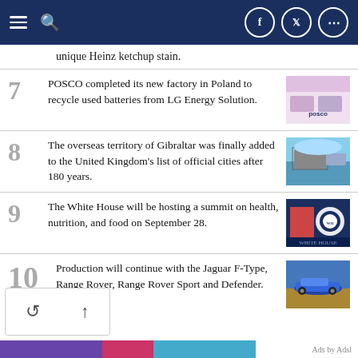[Navigation bar with menu, search, Facebook, Twitter, more icons]
unique Heinz ketchup stain.
7. POSCO completed its new factory in Poland to recycle used batteries from LG Energy Solution.
8. The overseas territory of Gibraltar was finally added to the United Kingdom's list of official cities after 180 years.
9. The White House will be hosting a summit on health, nutrition, and food on September 28.
10. Production will continue with the Jaguar F-Type, Range Rover, Range Rover Sport and Defender.